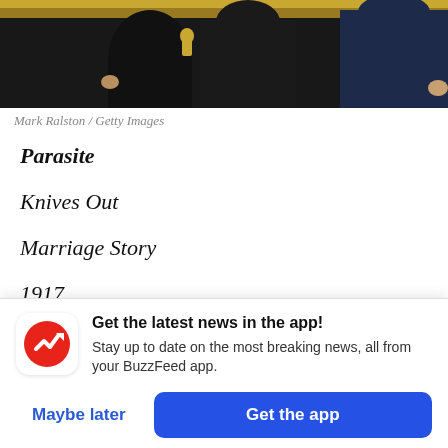[Figure (photo): Cropped photo of people in formal wear at an awards event, dark background with gold decorative elements, one person holding a trophy.]
Mark Ralston / Getty Images
Parasite
Knives Out
Marriage Story
1917
Get the latest news in the app! Stay up to date on the most breaking news, all from your BuzzFeed app.